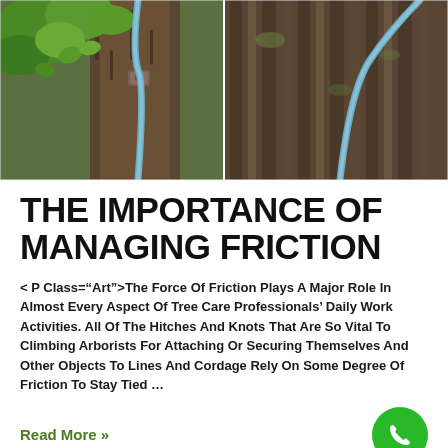[Figure (photo): Two-panel photo showing rope/cordage attached to a tree trunk — left panel shows green leaves and a blue rope looped around a metal fitting on a tree branch; right panel shows close-up of rough tree bark with a blue rope running diagonally across it.]
THE IMPORTANCE OF MANAGING FRICTION
< P Class="Art">The Force Of Friction Plays A Major Role In Almost Every Aspect Of Tree Care Professionals' Daily Work Activities. All Of The Hitches And Knots That Are So Vital To Climbing Arborists For Attaching Or Securing Themselves And Other Objects To Lines And Cordage Rely On Some Degree Of Friction To Stay Tied …
Read More »